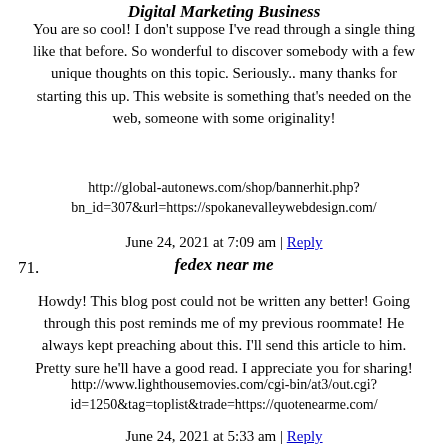Digital Marketing Business
You are so cool! I don't suppose I've read through a single thing like that before. So wonderful to discover somebody with a few unique thoughts on this topic. Seriously.. many thanks for starting this up. This website is something that's needed on the web, someone with some originality!
http://global-autonews.com/shop/bannerhit.php?bn_id=307&url=https://spokanevalleywebdesign.com/
June 24, 2021 at 7:09 am | Reply
71. fedex near me
Howdy! This blog post could not be written any better! Going through this post reminds me of my previous roommate! He always kept preaching about this. I'll send this article to him. Pretty sure he'll have a good read. I appreciate you for sharing!
http://www.lighthousemovies.com/cgi-bin/at3/out.cgi?id=1250&tag=toplist&trade=https://quotenearme.com/
June 24, 2021 at 5:33 am | Reply
72. tire repair near me